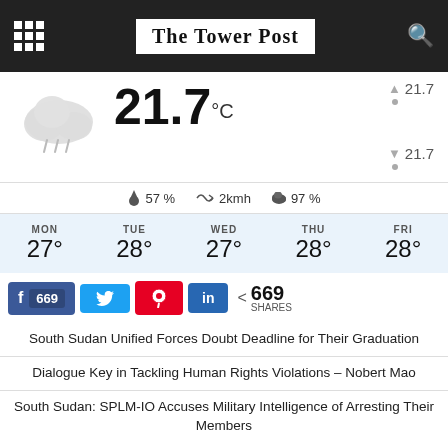The Tower Post
[Figure (infographic): Weather widget showing 21.7°C with cloud/rain icon, high 21.7, low 21.7, humidity 57%, wind 2kmh, cloud cover 97%, and 5-day forecast: MON 27°, TUE 28°, WED 27°, THU 28°, FRI 28°]
669 shares — Facebook, Twitter, Pinterest, LinkedIn
South Sudan Unified Forces Doubt Deadline for Their Graduation
Dialogue Key in Tackling Human Rights Violations – Nobert Mao
South Sudan: SPLM-IO Accuses Military Intelligence of Arresting Their Members